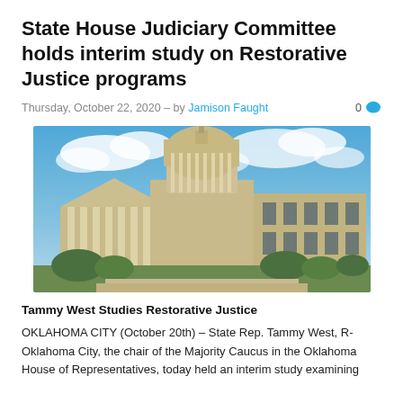State House Judiciary Committee holds interim study on Restorative Justice programs
Thursday, October 22, 2020 – by Jamison Faught   0
[Figure (photo): Photograph of the Oklahoma State Capitol building exterior, showing the classical columns, rotunda dome, and blue sky with clouds.]
Tammy West Studies Restorative Justice
OKLAHOMA CITY (October 20th) – State Rep. Tammy West, R-Oklahoma City, the chair of the Majority Caucus in the Oklahoma House of Representatives, today held an interim study examining